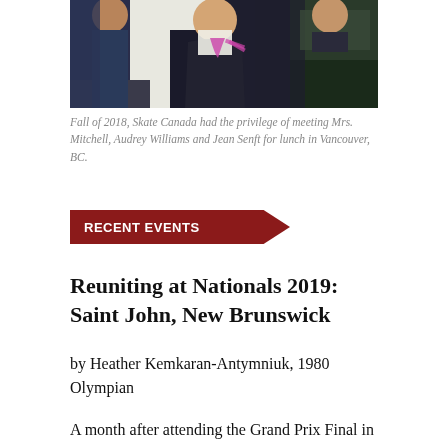[Figure (photo): Photo of people at a meeting, one wearing a garment with a purple/magenta bow or sash, dark background with greenery visible]
Fall of 2018, Skate Canada had the privilege of meeting Mrs. Mitchell, Audrey Williams and Jean Senft for lunch in Vancouver, BC.
RECENT EVENTS
Reuniting at Nationals 2019: Saint John, New Brunswick
by Heather Kemkaran-Antymniuk, 1980 Olympian
A month after attending the Grand Prix Final in